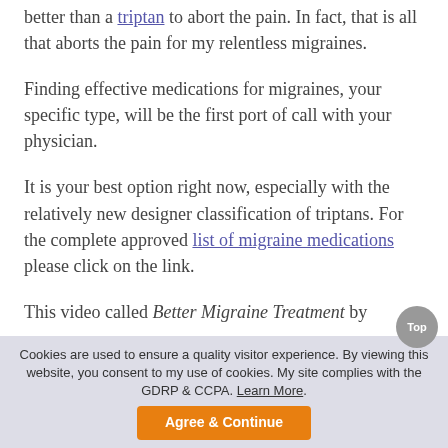better than a triptan to abort the pain. In fact, that is all that aborts the pain for my relentless migraines.
Finding effective medications for migraines, your specific type, will be the first port of call with your physician.
It is your best option right now, especially with the relatively new designer classification of triptans. For the complete approved list of migraine medications please click on the link.
This video called Better Migraine Treatment by
Cookies are used to ensure a quality visitor experience. By viewing this website, you consent to my use of cookies. My site complies with the GDRP & CCPA. Learn More. Agree & Continue